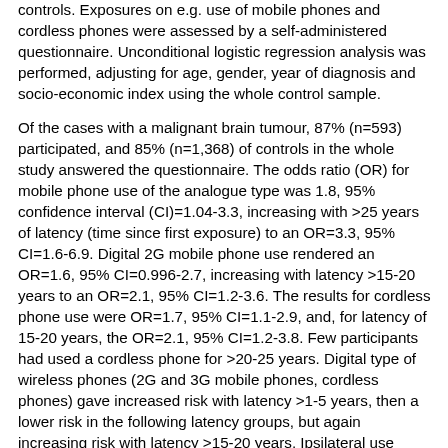controls. Exposures on e.g. use of mobile phones and cordless phones were assessed by a self-administered questionnaire. Unconditional logistic regression analysis was performed, adjusting for age, gender, year of diagnosis and socio-economic index using the whole control sample.
Of the cases with a malignant brain tumour, 87% (n=593) participated, and 85% (n=1,368) of controls in the whole study answered the questionnaire. The odds ratio (OR) for mobile phone use of the analogue type was 1.8, 95% confidence interval (CI)=1.04-3.3, increasing with >25 years of latency (time since first exposure) to an OR=3.3, 95% CI=1.6-6.9. Digital 2G mobile phone use rendered an OR=1.6, 95% CI=0.996-2.7, increasing with latency >15-20 years to an OR=2.1, 95% CI=1.2-3.6. The results for cordless phone use were OR=1.7, 95% CI=1.1-2.9, and, for latency of 15-20 years, the OR=2.1, 95% CI=1.2-3.8. Few participants had used a cordless phone for >20-25 years. Digital type of wireless phones (2G and 3G mobile phones, cordless phones) gave increased risk with latency >1-5 years, then a lower risk in the following latency groups, but again increasing risk with latency >15-20 years. Ipsilateral use resulted in a higher risk than contralateral mobile and cordless phone use. Higher ORs were calculated for tumours in the temporal and overlapping lobes. Using the meningioma cases in the same study as reference entity